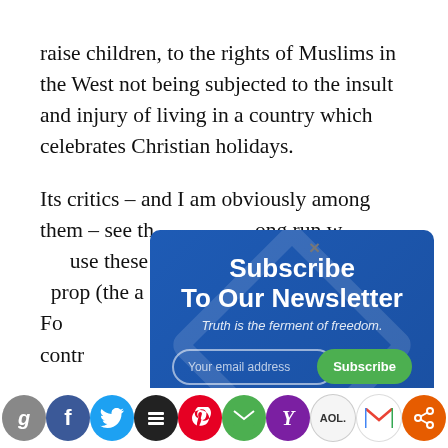raise children, to the rights of Muslims in the West not being subjected to the insult and injury of living in a country which celebrates Christian holidays.
Its critics – and I am obviously among them – see th[...] ong run w[...] use these [...] Vest throu[...] prop (the a[...] by the Fo[...] s nume[...] a contr[...] riots, he[...] so al[...]
[Figure (other): Subscribe To Our Newsletter popup modal with email input field, Subscribe button, and tagline 'Truth is the ferment of freedom.' overlaid on the article text. A close X button is visible at the top right.]
[Figure (infographic): Social sharing bar at bottom with icons for Google, Facebook, Twitter, Buffer/Stack, Pinterest, Email, Yahoo, AOL, Gmail, and a share icon.]